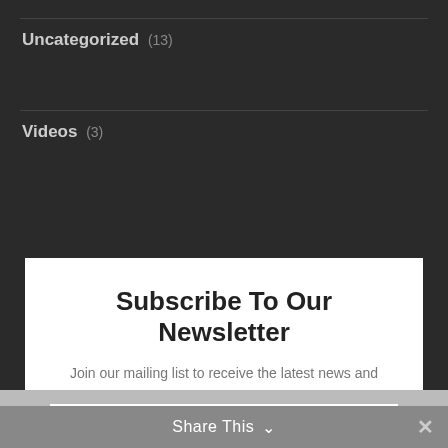Uncategorized (13)
Videos (3)
Subscribe To Our Newsletter
Join our mailing list to receive the latest news and updates from our team.
NAME
Share This ∨  ✕